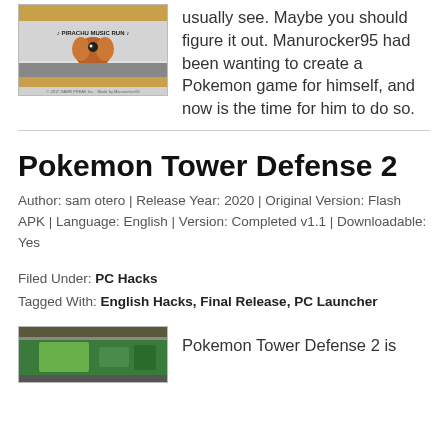[Figure (screenshot): Screenshot of Pirachu Music Run game, showing game logo with bird emblem on gray background with decorative border]
usually see. Maybe you should figure it out. Manurocker95 had been wanting to create a Pokemon game for himself, and now is the time for him to do so.
Pokemon Tower Defense 2
Author: sam otero | Release Year: 2020 | Original Version: Flash APK | Language: English | Version: Completed v1.1 | Downloadable: Yes
Filed Under: PC Hacks
Tagged With: English Hacks, Final Release, PC Launcher
[Figure (screenshot): Screenshot of Pokemon Tower Defense 2 game]
Pokemon Tower Defense 2 is